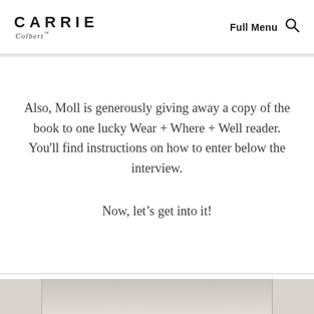CARRIE Colbert — Full Menu 🔍
Also, Moll is generously giving away a copy of the book to one lucky Wear + Where + Well reader. You'll find instructions on how to enter below the interview.
Now, let's get into it!
[Figure (photo): Partial photo strip at the bottom of the page showing a blurred interior scene with warm tones.]